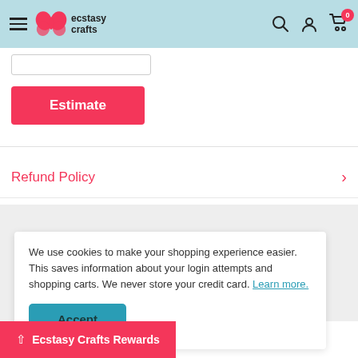ecstasy crafts — navigation header
[Figure (screenshot): Input form field (empty) above an Estimate button]
Estimate
Refund Policy
We use cookies to make your shopping experience easier. This saves information about your login attempts and shopping carts. We never store your credit card. Learn more.
Accept
Ecstasy Crafts Rewards